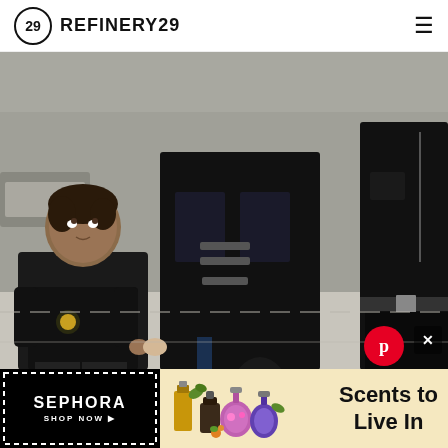REFINERY29
[Figure (photo): Street style photo of a family walking together, all dressed in black leather and dark outfits. A young boy in a black bomber jacket holds hands with a woman in a black leather jacket and dark skirt. A man in an all-black leather outfit pushes a stroller with a baby dressed in a dark floral jacket.]
[Figure (logo): Pinterest logo (red circle with white P)]
[Figure (infographic): Sephora advertisement banner on the left with black background and white stripe border, showing SEPHORA logo and SHOP NOW text. Right side shows fragrance bottles on beige/tan background with text 'Scents to Live In']